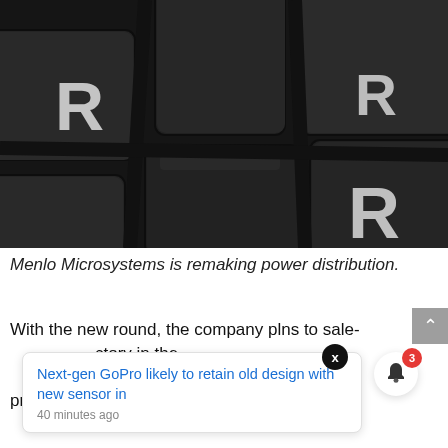[Figure (photo): Close-up black and white photograph of mechanical keyboard keys, showing keys with the letter R symbol, dark grey keycaps with textured surfaces]
Menlo Microsystems is remaking power distribution.
With the new round, the company plans to sale [notification overlay] ctory in the [notification overlay] ncy. The first products are coming soon.